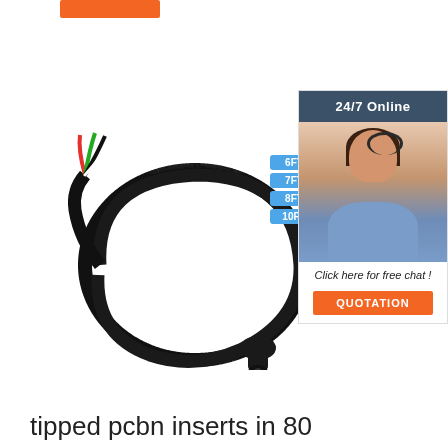[Figure (other): Orange button/badge at top left]
[Figure (photo): Black cable/wire product with colored wire ends and a cylindrical connector, shown coiled on white background, with size labels 6FT, 7FT, 8FT, 10FT in blue tags]
[Figure (infographic): 24/7 Online customer service sidebar with a photo of a smiling woman wearing a headset, text 'Click here for free chat!' and an orange QUOTATION button]
tipped pcbn inserts in 80